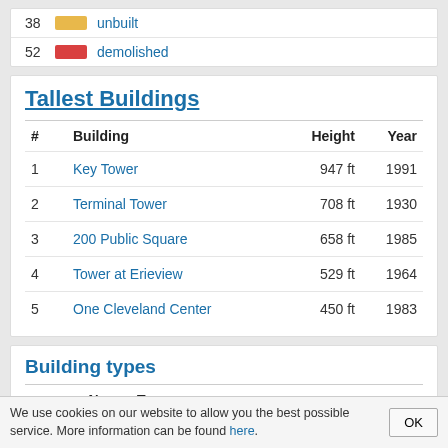|  |  |  |
| --- | --- | --- |
| 38 | unbuilt |  |
| 52 | demolished |  |
Tallest Buildings
| # | Building | Height | Year |
| --- | --- | --- | --- |
| 1 | Key Tower | 947 ft | 1991 |
| 2 | Terminal Tower | 708 ft | 1930 |
| 3 | 200 Public Square | 658 ft | 1985 |
| 4 | Tower at Erieview | 529 ft | 1964 |
| 5 | One Cleveland Center | 450 ft | 1983 |
Building types
| No. | Type |
| --- | --- |
| 234 | low-rise building |
We use cookies on our website to allow you the best possible service. More information can be found here.